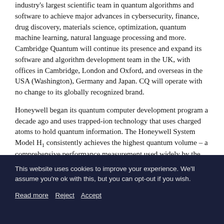industry's largest scientific team in quantum algorithms and software to achieve major advances in cybersecurity, finance, drug discovery, materials science, optimization, quantum machine learning, natural language processing and more. Cambridge Quantum will continue its presence and expand its software and algorithm development team in the UK, with offices in Cambridge, London and Oxford, and overseas in the USA (Washington), Germany and Japan. CQ will operate with no change to its globally recognized brand.
Honeywell began its quantum computer development program a decade ago and uses trapped-ion technology that uses charged atoms to hold quantum information. The Honeywell System Model H1 consistently achieves the highest quantum volume – a comprehensive performance measurement used widely by the industry – on a commercial quantum computer.
The new company, which will be formally named in due course, will have a long-term agreement with Honeywell to help
This website uses cookies to improve your experience. We'll assume you're ok with this, but you can opt-out if you wish.
Read more   Reject   Accept